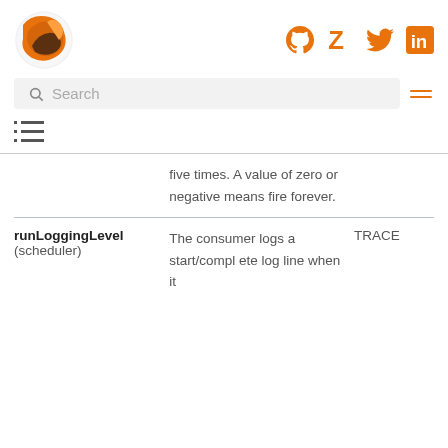Logo and social icons (GitHub, Zulip, Twitter, LinkedIn)
Search
[Figure (other): List/TOC icon]
five times. A value of zero or negative means fire forever.
| Parameter | Description | Default |
| --- | --- | --- |
| runLoggingLevel (scheduler) | The consumer logs a start/complete log line when it | TRACE |